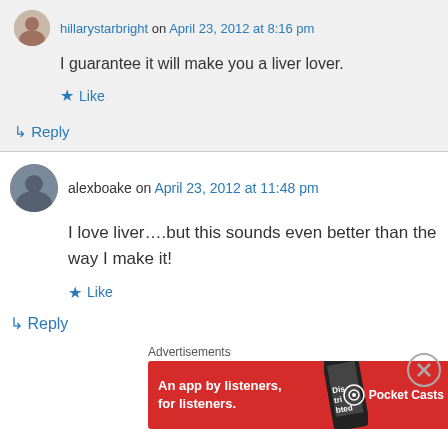hillarystarbright on April 23, 2012 at 8:16 pm
I guarantee it will make you a liver lover.
Like
Reply
alexboake on April 23, 2012 at 11:48 pm
I love liver….but this sounds even better than the way I make it!
Like
Reply
Advertisements
[Figure (other): Pocket Casts advertisement banner: An app by listeners, for listeners.]